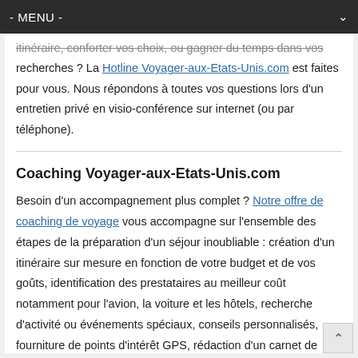- MENU -
itinéraire, conforter vos choix, ou gagner du temps dans vos recherches ? La Hotline Voyager-aux-Etats-Unis.com est faites pour vous. Nous répondons à toutes vos questions lors d'un entretien privé en visio-conférence sur internet (ou par téléphone).
Coaching Voyager-aux-Etats-Unis.com
Besoin d'un accompagnement plus complet ? Notre offre de coaching de voyage vous accompagne sur l'ensemble des étapes de la préparation d'un séjour inoubliable : création d'un itinéraire sur mesure en fonction de votre budget et de vos goûts, identification des prestataires au meilleur coût notamment pour l'avion, la voiture et les hôtels, recherche d'activité ou événements spéciaux, conseils personnalisés, fourniture de points d'intérêt GPS, rédaction d'un carnet de route détaillé jour par jour etc…